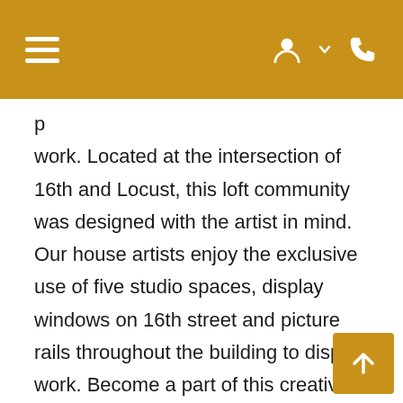Navigation header with hamburger menu, user account icon, and phone icon
p work. Located at the intersection of 16th and Locust, this loft community was designed with the artist in mind. Our house artists enjoy the exclusive use of five studio spaces, display windows on 16th street and picture rails throughout the building to display work. Become a part of this creative community for artists located in the heart of the Warehouse District. With one of the most unique amenity packages downtown, Leather Trades